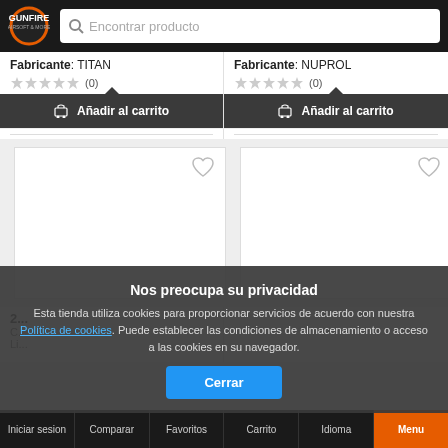[Figure (logo): Gunfire Airsoft & More logo with orange circle and text on dark background]
Encontrar producto
Fabricante: TITAN
(0)
Añadir al carrito
Fabricante: NUPROL
(0)
Añadir al carrito
[Figure (screenshot): Product card placeholder left]
[Figure (screenshot): Product card placeholder right]
Nos preocupa su privacidad
Esta tienda utiliza cookies para proporcionar servicios de acuerdo con nuestra Política de cookies. Puede establecer las condiciones de almacenamiento o acceso a las cookies en su navegador.
Cerrar
Iniciar sesion   Comparar   Favoritos   Carrito   Idioma   Menu